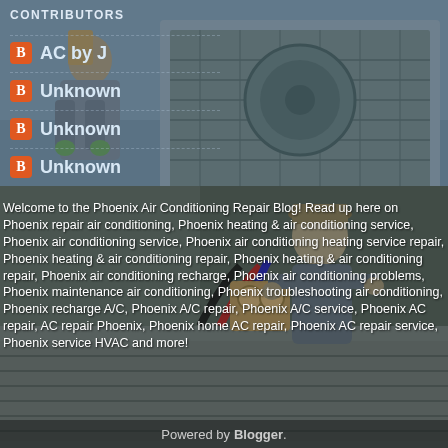CONTRIBUTORS
AC by J
Unknown
Unknown
Unknown
[Figure (photo): Two technicians working on an outdoor HVAC/air conditioning unit on a rooftop]
Welcome to the Phoenix Air Conditioning Repair Blog! Read up here on Phoenix repair air conditioning, Phoenix heating & air conditioning service, Phoenix air conditioning service, Phoenix air conditioning heating service repair, Phoenix heating & air conditioning repair, Phoenix heating & air conditioning repair, Phoenix air conditioning recharge, Phoenix air conditioning problems, Phoenix maintenance air conditioning, Phoenix troubleshooting air conditioning, Phoenix recharge A/C, Phoenix A/C repair, Phoenix A/C service, Phoenix AC repair, AC repair Phoenix, Phoenix home AC repair, Phoenix AC repair service, Phoenix service HVAC and more!
Powered by Blogger.